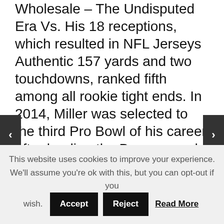Wholesale – The Undisputed Era Vs. His 18 receptions, which resulted in NFL Jerseys Authentic 157 yards and two touchdowns, ranked fifth among all rookie tight ends. In 2014, Miller was selected to the third Pro Bowl of his career after leading the Broncos and ranking sixth in the NFL with 14 sacks. My instinct is to string the other mom along and not force my daughter into anything against her will. In July 2019, HGTV announced , giving one lucky winner a chance to stay at the house for six nights with seven guests. Make your
This website uses cookies to improve your experience. We'll assume you're ok with this, but you can opt-out if you wish.